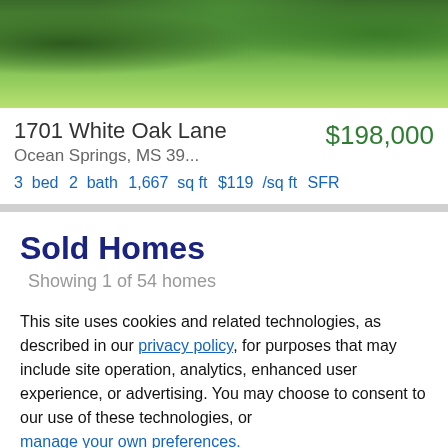[Figure (photo): Exterior photo of a house with green lawn and walkway]
1701 White Oak Lane Ocean Springs, MS 39... $198,000 3 bed 2 bath 1,667 sq ft $119 /sq ft SFR
Sold Homes
Showing 1 of 54 homes
This site uses cookies and related technologies, as described in our privacy policy, for purposes that may include site operation, analytics, enhanced user experience, or advertising. You may choose to consent to our use of these technologies, or manage your own preferences.
Decline
Accept